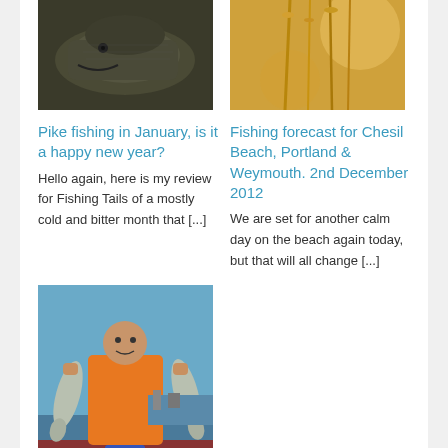[Figure (photo): Close-up photo of a pike fish, dark and scaly, against a dark background]
[Figure (photo): Close-up photo of golden/yellow plant stems or reeds with blurred warm background]
Pike fishing in January, is it a happy new year?
Fishing forecast for Chesil Beach, Portland & Weymouth. 2nd December 2012
Hello again, here is my review for Fishing Tails of a mostly cold and bitter month that [...]
We are set for another calm day on the beach again today, but that will all change [...]
[Figure (photo): Man in orange overalls on a boat holding two large bass fish, harbor in the background]
It's all about the Bass. The reality of a 6